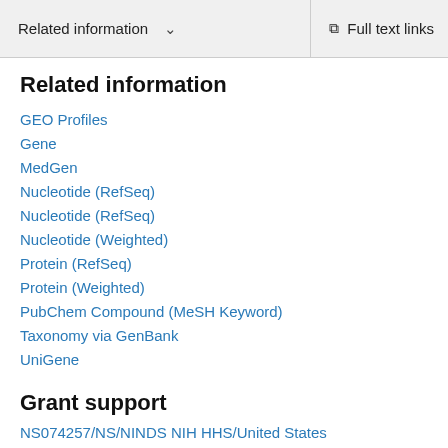Related information   ∨   Full text links
Related information
GEO Profiles
Gene
MedGen
Nucleotide (RefSeq)
Nucleotide (RefSeq)
Nucleotide (Weighted)
Protein (RefSeq)
Protein (Weighted)
PubChem Compound (MeSH Keyword)
Taxonomy via GenBank
UniGene
Grant support
NS074257/NS/NINDS NIH HHS/United States